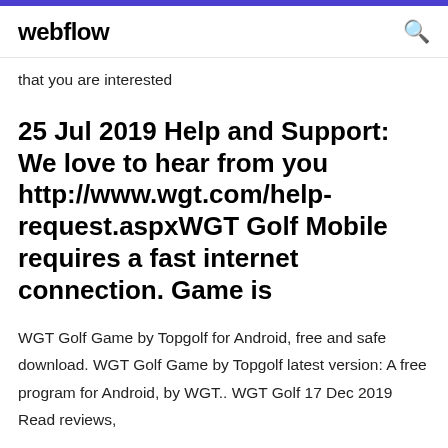webflow
that you are interested
25 Jul 2019 Help and Support: We love to hear from you http://www.wgt.com/help-request.aspxWGT Golf Mobile requires a fast internet connection. Game is
WGT Golf Game by Topgolf for Android, free and safe download. WGT Golf Game by Topgolf latest version: A free program for Android, by WGT.. WGT Golf 17 Dec 2019 Read reviews,